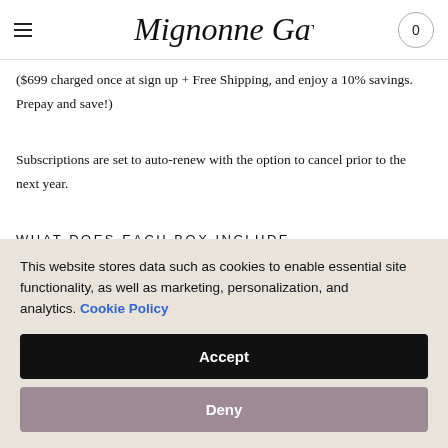Mignonne Gavigan — 0
($699 charged once at sign up + Free Shipping, and enjoy a 10% savings. Prepay and save!)
Subscriptions are set to auto-renew with the option to cancel prior to the next year.
WHAT DOES EACH BOX INCLUDE
This website stores data such as cookies to enable essential site functionality, as well as marketing, personalization, and analytics. Cookie Policy
Accept
Deny